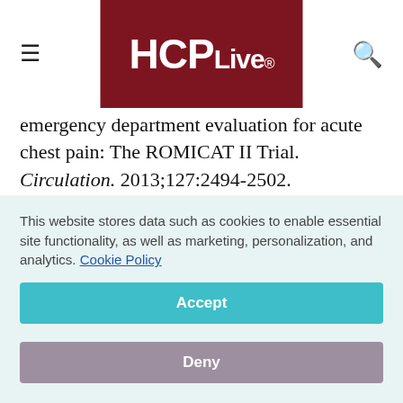HCPLive®
emergency department evaluation for acute chest pain: The ROMICAT II Trial. Circulation. 2013;127:2494-2502.
Study Details
There is a controversy about whether patients
This website stores data such as cookies to enable essential site functionality, as well as marketing, personalization, and analytics. Cookie Policy
Accept
Deny